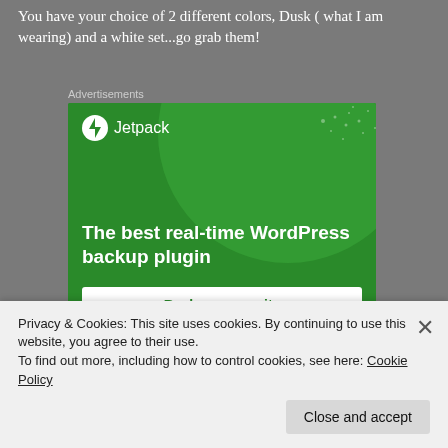You have your choice of 2 different colors, Dusk (what I am wearing) and a white set...go grab them!
Advertisements
[Figure (screenshot): Jetpack WordPress plugin advertisement with green background, showing Jetpack logo, headline 'The best real-time WordPress backup plugin', and a 'Back up your site' CTA button]
Privacy & Cookies: This site uses cookies. By continuing to use this website, you agree to their use.
To find out more, including how to control cookies, see here: Cookie Policy
Close and accept